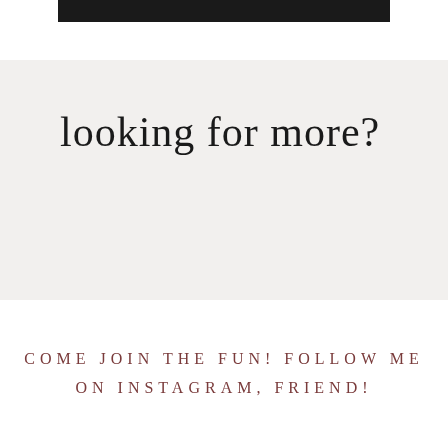[Figure (other): Dark black horizontal bar at the top of the page]
looking for more?
COME JOIN THE FUN! FOLLOW ME ON INSTAGRAM, FRIEND!